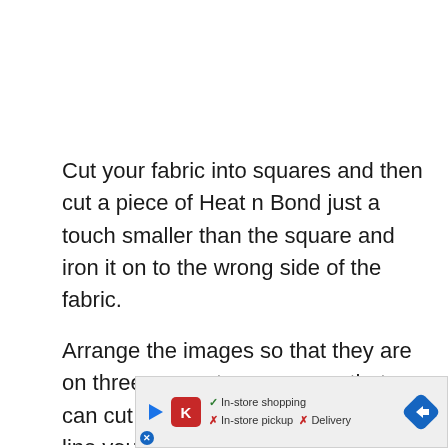Cut your fabric into squares and then cut a piece of Heat n Bond just a touch smaller than the square and iron it on to the wrong side of the fabric.
Arrange the images so that they are on three separate corners so that you can cut all the images at once. Then line your fabr... he
[Figure (screenshot): Advertisement overlay bar at the bottom of the page showing store icons, In-store shopping checkmark, In-store pickup X, Delivery X, and a blue navigation arrow icon]